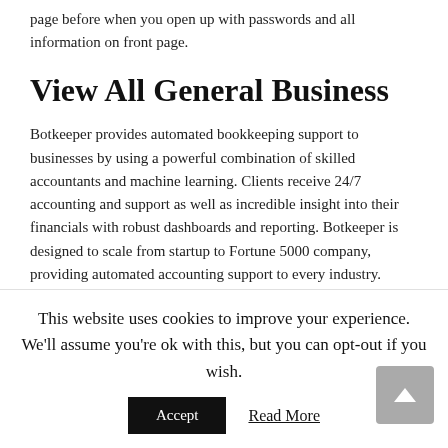page before when you open up with passwords and all information on front page.
View All General Business
Botkeeper provides automated bookkeeping support to businesses by using a powerful combination of skilled accountants and machine learning. Clients receive 24/7 accounting and support as well as incredible insight into their financials with robust dashboards and reporting. Botkeeper is designed to scale from startup to Fortune 5000 company, providing automated accounting support to every industry. Botkeeper helps you save time and
This website uses cookies to improve your experience. We'll assume you're ok with this, but you can opt-out if you wish.
Accept
Read More